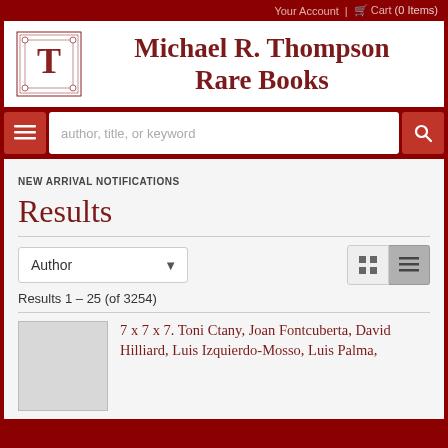Your Account | Cart (0 Items)
Michael R. Thompson Rare Books
author, title, or keyword
NEW ARRIVAL NOTIFICATIONS
Results
Author
Results 1 - 25 (of 3254)
7 x 7 x 7. Toni Ctany, Joan Fontcuberta, David Hilliard, Luis Izquierdo-Mosso, Luis Palma,